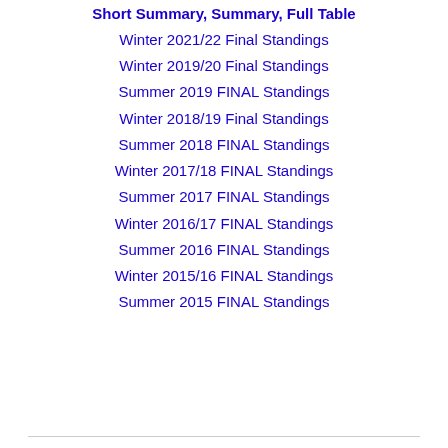Short Summary, Summary, Full Table
Winter 2021/22 Final Standings
Winter 2019/20 Final Standings
Summer 2019 FINAL Standings
Winter 2018/19 Final Standings
Summer 2018 FINAL Standings
Winter 2017/18 FINAL Standings
Summer 2017 FINAL Standings
Winter 2016/17 FINAL Standings
Summer 2016 FINAL Standings
Winter 2015/16 FINAL Standings
Summer 2015 FINAL Standings